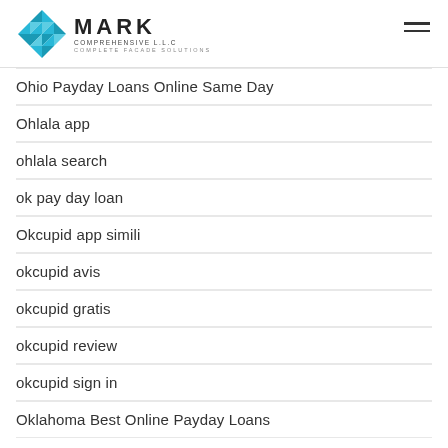MARK COMPREHENSIVE L.L.C. COMPLETE FACADE SOLUTIONS
Ohio Payday Loans Online Same Day
Ohlala app
ohlala search
ok pay day loan
Okcupid app simili
okcupid avis
okcupid gratis
okcupid review
okcupid sign in
Oklahoma Best Online Payday Loans